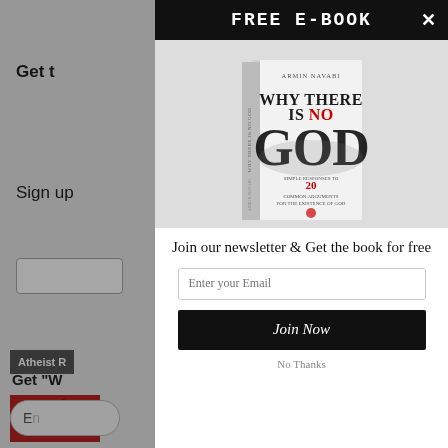FREE E-BOOK
[Figure (illustration): Book cover of 'Why There Is No God' by Armin Navabi. White cover with large dark smoky text reading 'GOD', subtitle 'Simple Responses to 20 Common Arguments for the Existence of God']
Join our newsletter & Get the book for free
Enter your Email
Join Now
No Thanks